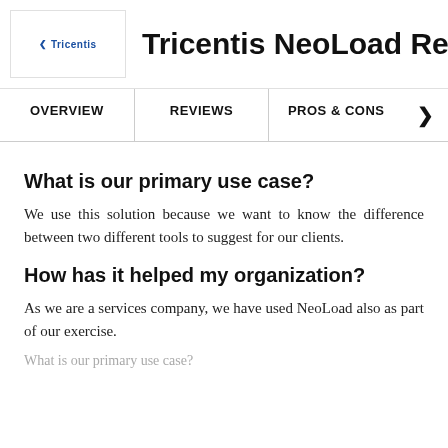Tricentis NeoLoad Reviews
What is our primary use case?
We use this solution because we want to know the difference between two different tools to suggest for our clients.
How has it helped my organization?
As we are a services company, we have used NeoLoad also as part of our exercise.